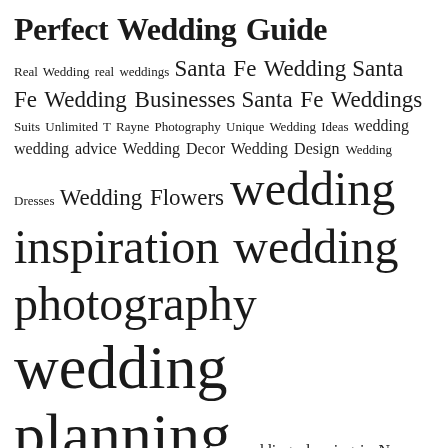Perfect Wedding Guide
Real Wedding real weddings Santa Fe Wedding Santa Fe Wedding Businesses Santa Fe Weddings Suits Unlimited T Rayne Photography Unique Wedding Ideas wedding wedding advice Wedding Decor Wedding Design Wedding Dresses Wedding Flowers wedding inspiration wedding photography wedding planning wedding planning in New Mexico Wedding Planning Tips Wedding Reception Wedding Trends wedding venue